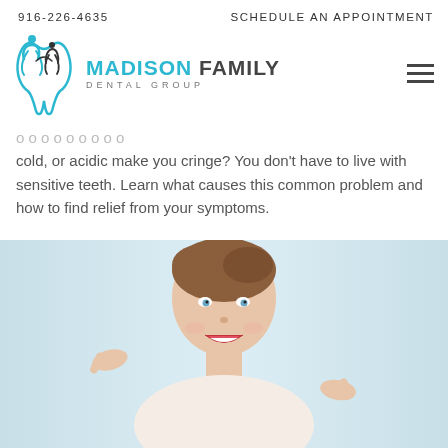916-226-4635    SCHEDULE AN APPOINTMENT
[Figure (logo): Madison Family Dental Group logo with teal and dark tooth/people icon and text]
cold, or acidic make you cringe? You don't have to live with sensitive teeth. Learn what causes this common problem and how to find relief from your symptoms.
[Figure (photo): Smiling woman with brown hair pointing at her teeth with both index fingers, light blue background]